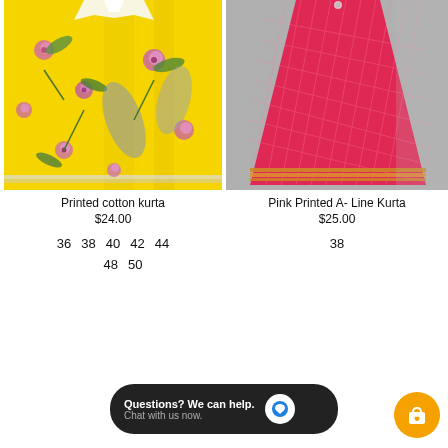[Figure (photo): Yellow floral printed cotton kurta clothing item]
[Figure (photo): Pink printed A-line kurta clothing item]
Printed cotton kurta
$24.00
Pink Printed A- Line Kurta
$25.00
36   38   40   42   44
48   50
38
Questions? We can help. Chat with us now.